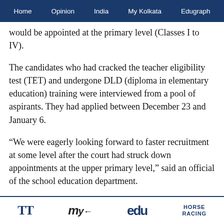Home  Opinion  India  My Kolkata  Edugraph
would be appointed at the primary level (Classes I to IV).
The candidates who had cracked the teacher eligibility test (TET) and undergone DLD (diploma in elementary education) training were interviewed from a pool of aspirants. They had applied between December 23 and January 6.
“We were eagerly looking forward to faster recruitment at some level after the court had struck down appointments at the upper primary level,” said an official of the school education department.
The notice from the board says 1,216 remaining posts have been kept vacant “for further recruitment of the
TT  My  edu  HORSE RACING